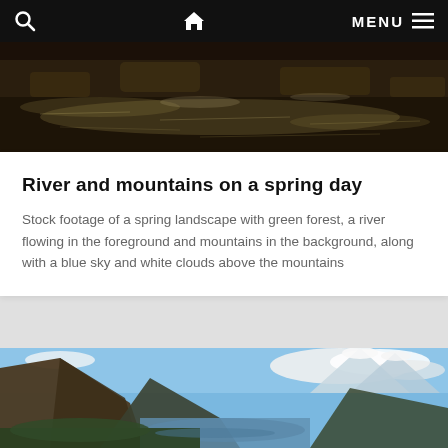Navigation bar with search icon, home icon, and MENU
[Figure (photo): Partial view of a river with rocky surface, water flowing over rocks, dark tones]
River and mountains on a spring day
Stock footage of a spring landscape with green forest, a river flowing in the foreground and mountains in the background, along with a blue sky and white clouds above the mountains
[Figure (photo): Scenic fjord landscape with tall cliffs, mountains with snow-capped peaks, a river/lake in the valley, green forest in foreground, blue sky with white clouds]